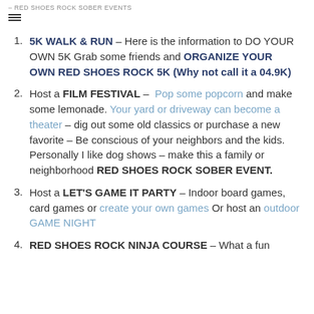– RED SHOES ROCK SOBER EVENTS
5K WALK & RUN – Here is the information to DO YOUR OWN 5K Grab some friends and ORGANIZE YOUR OWN RED SHOES ROCK 5K (Why not call it a 04.9K)
Host a FILM FESTIVAL – Pop some popcorn and make some lemonade. Your yard or driveway can become a theater – dig out some old classics or purchase a new favorite – Be conscious of your neighbors and the kids. Personally I like dog shows – make this a family or neighborhood RED SHOES ROCK SOBER EVENT.
Host a LET'S GAME IT PARTY – Indoor board games, card games or create your own games Or host an outdoor GAME NIGHT
RED SHOES ROCK NINJA COURSE – What a fun